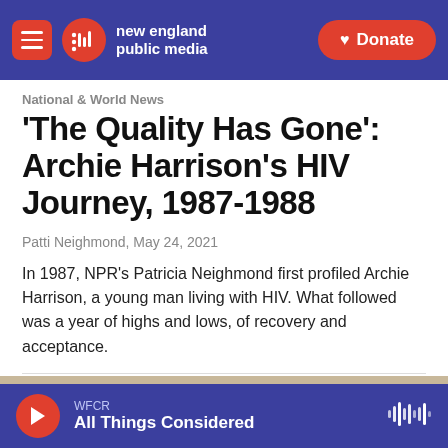new england public media | Donate
National & World News
'The Quality Has Gone': Archie Harrison's HIV Journey, 1987-1988
Patti Neighmond, May 24, 2021
In 1987, NPR's Patricia Neighmond first profiled Archie Harrison, a young man living with HIV. What followed was a year of highs and lows, of recovery and acceptance.
[Figure (photo): Partial image strip visible at bottom of article area]
WFCR | All Things Considered